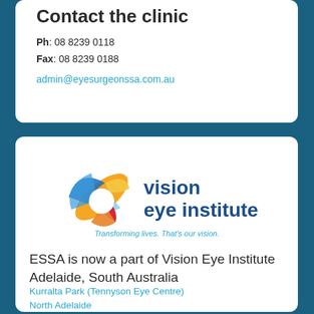Contact the clinic
Ph: 08 8239 0118
Fax: 08 8239 0188
admin@eyesurgeonssa.com.au
[Figure (logo): Vision Eye Institute logo with swirl graphic and tagline 'Transforming lives. That's our vision.']
ESSA is now a part of Vision Eye Institute Adelaide, South Australia
Kurralta Park (Tennyson Eye Centre)
North Adelaide